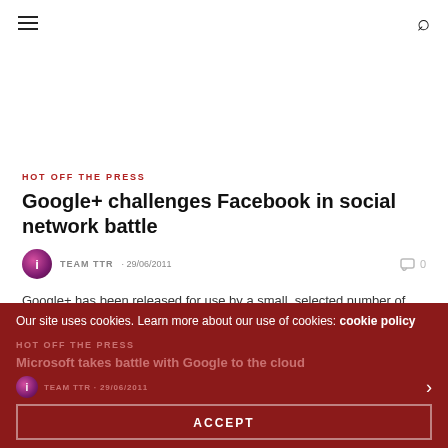Navigation menu and search icon
HOT OFF THE PRESS
Google+ challenges Facebook in social network battle
TEAM TTR · 29/06/2011   0
Google+ has been released for use by a small, selected number of users Online search giant Google has launched a new social networking website in its latest attempt to take on Facebook, which now claims more than 500m users. Google+...
Our site uses cookies. Learn more about our use of cookies: cookie policy
HOT OFF THE PRESS
Microsoft takes battle with Google to the cloud
TEAM TTR · 29/06/2011
ACCEPT